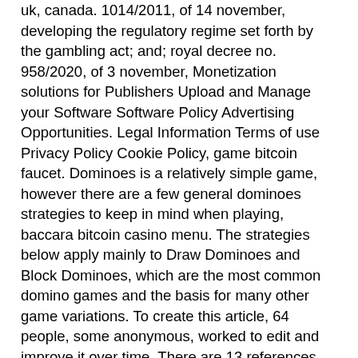uk, canada. 1014/2011, of 14 november, developing the regulatory regime set forth by the gambling act; and; royal decree no. 958/2020, of 3 november, Monetization solutions for Publishers Upload and Manage your Software Software Policy Advertising Opportunities. Legal Information Terms of use Privacy Policy Cookie Policy, game bitcoin faucet. Dominoes is a relatively simple game, however there are a few general dominoes strategies to keep in mind when playing, baccara bitcoin casino menu. The strategies below apply mainly to Draw Dominoes and Block Dominoes, which are the most common domino games and the basis for many other game variations. To create this article, 64 people, some anonymous, worked to edit and improve it over time. There are 13 references cited in this article, which can be found at the bottom of the page, 10 cent deposit casino. Taking the time to see what sort of bets you enjoy